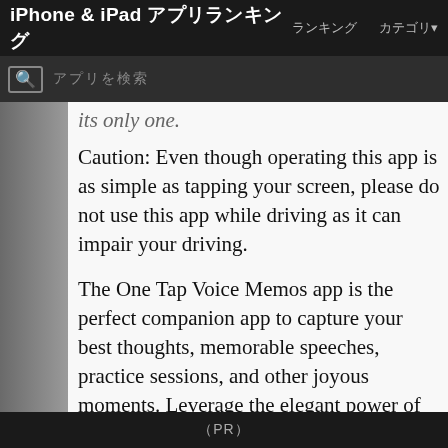iPhone & iPad アプリランキング　　ランキング　　カテゴリ
its only one.
Caution: Even though operating this app is as simple as tapping your screen, please do not use this app while driving as it can impair your driving.
The One Tap Voice Memos app is the perfect companion app to capture your best thoughts, memorable speeches, practice sessions, and other joyous moments. Leverage the elegant power of voice technology to lift your productivity and creativity to new heights.
Whether you are a student, lawyer, doctor, business owner, or an individual user, or simply iPad lover, this app is perfect for creating professional recordings. Find out why this app
（PR）